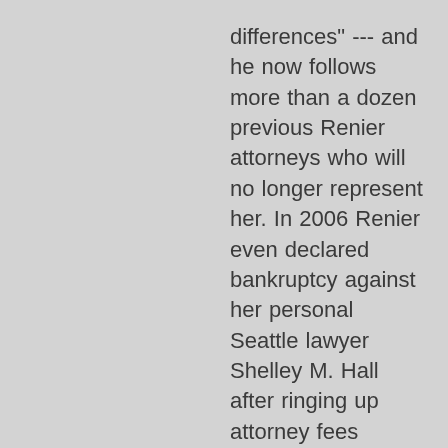differences" --- and he now follows more than a dozen previous Renier attorneys who will no longer represent her. In 2006 Renier even declared bankruptcy against her personal Seattle lawyer Shelley M. Hall after ringing up attorney fees exceeding $26,000 and attorney Hall failing to win repeated efforts to save medium and psychic Noreen Renier from federal judgments. Renier as a defendant has lost major lawsuits in four federal courts in 2006, 2007, 2011, and 2012. Three of those courts cited her lack